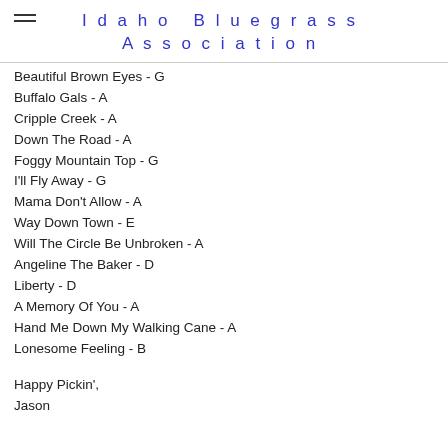Idaho Bluegrass Association
Beautiful Brown Eyes - G
Buffalo Gals - A
Cripple Creek - A
Down The Road - A
Foggy Mountain Top - G
I'll Fly Away - G
Mama Don't Allow - A
Way Down Town - E
Will The Circle Be Unbroken - A
Angeline The Baker - D
Liberty - D
A Memory Of You - A
Hand Me Down My Walking Cane - A
Lonesome Feeling - B
Happy Pickin',
Jason